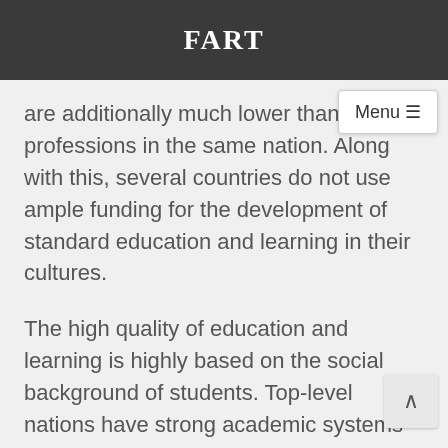FART
are additionally much lower than other professions in the same nation. Along with this, several countries do not use ample funding for the development of standard education and learning in their cultures.
The high quality of education and learning is highly based on the social background of students. Top-level nations have strong academic systems that have clear objectives for all trainees. Their academic systems additionally recruit teachers from the top five to ten percent of